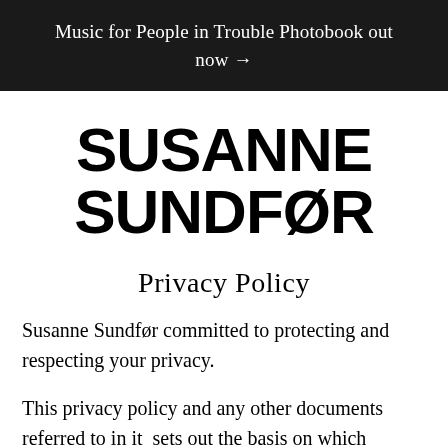Music for People in Trouble Photobook out now →
SUSANNE SUNDFØR
Privacy Policy
Susanne Sundfør committed to protecting and respecting your privacy.
This privacy policy and any other documents referred to in it  sets out the basis on which